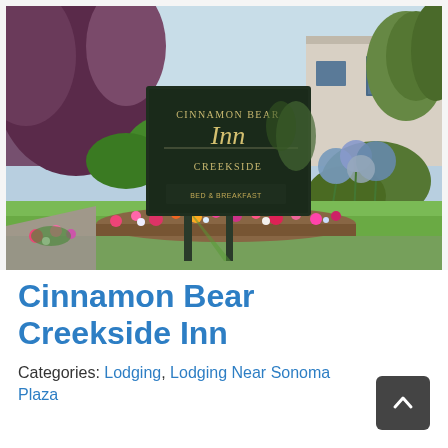[Figure (photo): Outdoor photo of the Cinnamon Bear Creekside Inn sign. A dark green sign on metal posts reads 'Cinnamon Bear Inn Creekside' with a secondary sign below. The scene shows green lawn, colorful flower beds with purple/blue flowers, green shrubs, trees including a dark-leafed tree, a building in the background, and blue sky. A sunny day with shadows on the grass.]
Cinnamon Bear Creekside Inn
Categories: Lodging, Lodging Near Sonoma Plaza